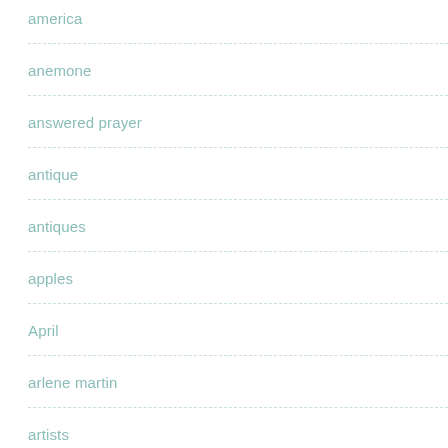america
anemone
answered prayer
antique
antiques
apples
April
arlene martin
artists
artwork